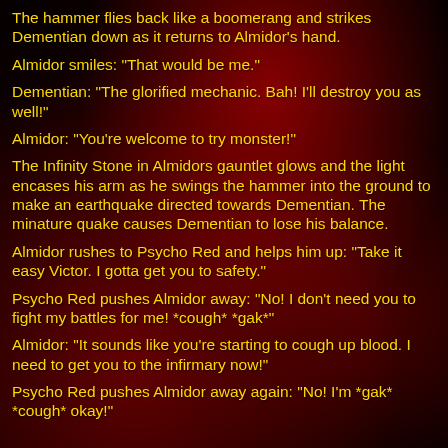The hammer flies back like a boomerang and strikes Dementian down as it returns to Almidor's hand.
Almidor smiles: "That would be me."
Dementian: "The glorified mechanic. Bah! I'll destroy you as well!"
Almidor: "You're welcome to try monster!"
The Infinity Stone in Almidors gauntlet glows and the light encases his arm as he swings the hammer into the ground to make an earthquake directed towards Dementian. The minature quake causes Dementian to lose his balance.
Almidor rushes to Psycho Red and helps him up: "Take it easy Victor. I gotta get you to safety."
Psycho Red pushes Almidor away: "No! I don't need you to fight my battles for me! *cough* *gak*"
Almidor: "It sounds like you're starting to cough up blood. I need to get you to the infirmary now!"
Psycho Red pushes Almidor away again: "No! I'm *gak* *cough* okay!"